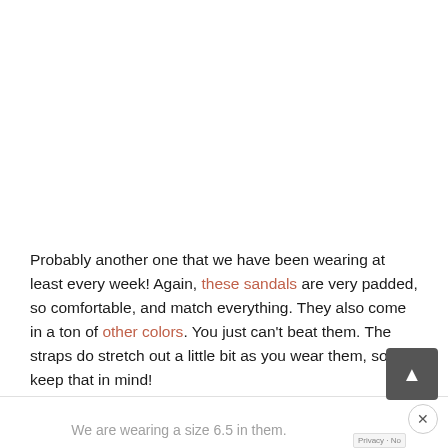Probably another one that we have been wearing at least every week! Again, these sandals are very padded, so comfortable, and match everything. They also come in a ton of other colors. You just can't beat them. The straps do stretch out a little bit as you wear them, so keep that in mind!
We are wearing a size 6.5 in them.